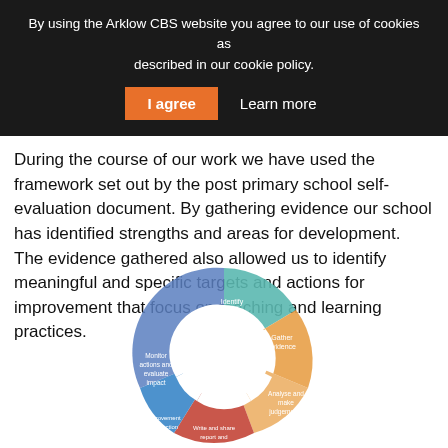By using the Arklow CBS website you agree to our use of cookies as described in our cookie policy.
I agree | Learn more
During the course of our work we have used the framework set out by the post primary school self-evaluation document. By gathering evidence our school has identified strengths and areas for development. The evidence gathered also allowed us to identify meaningful and specific targets and actions for improvement that focus on teaching and learning practices.
[Figure (donut-chart): Circular donut/cycle diagram showing the school self-evaluation process with six segments: Identify focus (teal/green), Gather evidence (orange), Analyse and make judgements (yellow-orange), Write and share report and improvement plan (red), Put improvement plan into action (blue), Monitor actions and evaluate impact (blue/purple). White circle in the center.]